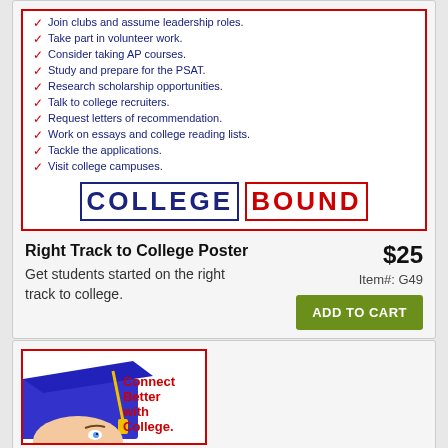[Figure (illustration): College Bound poster showing checklist of college preparation items with red checkmarks, blue text, and large stylized COLLEGE BOUND title at bottom]
Right Track to College Poster
$25
Item#: G49
Get students started on the right track to college.
[Figure (illustration): Connect Better with College poster showing student in blue graduation cap with red bold text: Connect Better with College.]